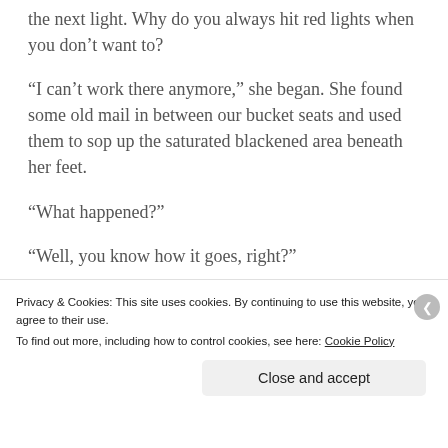the next light. Why do you always hit red lights when you don't want to?
“I can’t work there anymore,” she began. She found some old mail in between our bucket seats and used them to sop up the saturated blackened area beneath her feet.
“What happened?”
“Well, you know how it goes, right?”
I did. But I wasn’t sure what could have
Privacy & Cookies: This site uses cookies. By continuing to use this website, you agree to their use.
To find out more, including how to control cookies, see here: Cookie Policy